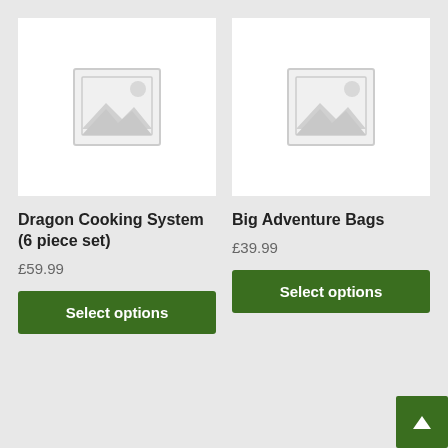[Figure (illustration): Placeholder image for Dragon Cooking System product]
Dragon Cooking System (6 piece set)
£59.99
Select options
[Figure (illustration): Placeholder image for Big Adventure Bags product]
Big Adventure Bags
£39.99
Select options